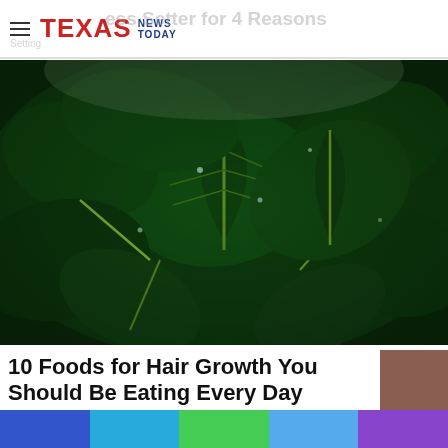Texas News Today
10 Foods for Hair Growth You Should Be Eating Every Day
[Figure (photo): Close-up photograph of fresh dark green spinach leaves with water droplets]
10 Foods for Hair Growth You Should Be Eating Every Day